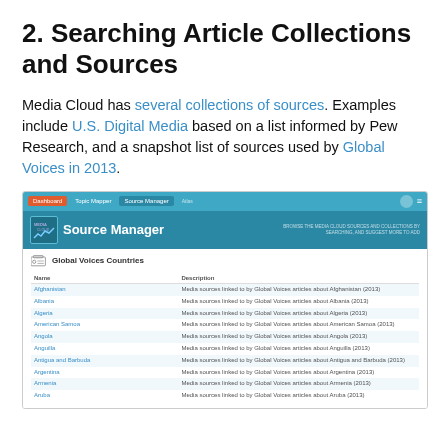2. Searching Article Collections and Sources
Media Cloud has several collections of sources. Examples include U.S. Digital Media based on a list informed by Pew Research, and a snapshot list of sources used by Global Voices in 2013.
[Figure (screenshot): Screenshot of Media Cloud Source Manager interface showing Global Voices Countries collection with a list of countries and their descriptions. Nav bar shows Dashboard, Topic Mapper, Source Manager tabs. The table lists: Afghanistan, Albania, Algeria, American Samoa, Angola, Anguilla, Antigua and Barbuda, Argentina, Armenia, Aruba — each with a description about media sources linked to by Global Voices articles about that country (2013).]